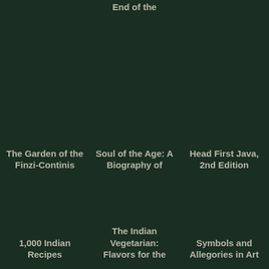End of the
The Garden of the Finzi-Continis
Soul of the Age: A Biography of
Head First Java, 2nd Edition
1,000 Indian Recipes
The Indian Vegetarian: Flavors for the
Symbols and Allegories in Art